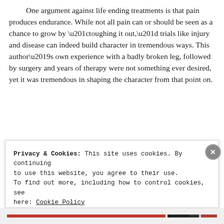One argument against life ending treatments is that pain produces endurance. While not all pain can or should be seen as a chance to grow by “toughing it out,” trials like injury and disease can indeed build character in tremendous ways. This author’s own experience with a badly broken leg, followed by surgery and years of therapy were not something ever desired, yet it was tremendous in shaping the character from that point on.
Privacy & Cookies: This site uses cookies. By continuing to use this website, you agree to their use. To find out more, including how to control cookies, see here: Cookie Policy
Close and accept